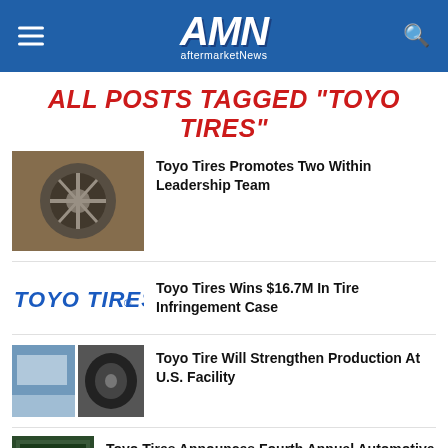AMN aftermarketNews
ALL POSTS TAGGED "TOYO TIRES"
[Figure (photo): Close-up photo of a stylish alloy wheel and tire on an SUV, outdoors on a wooden deck]
Toyo Tires Promotes Two Within Leadership Team
[Figure (logo): Toyo Tires logo in blue italic lettering]
Toyo Tires Wins $16.7M In Tire Infringement Case
[Figure (photo): Two small thumbnail images: a snowy surface and a black all-terrain tire]
Toyo Tire Will Strengthen Production At U.S. Facility
[Figure (photo): Thumbnail image showing Shutter Space photography contest branding]
Toyo Tires Announces Fourth Annual Automotive Photography Contest